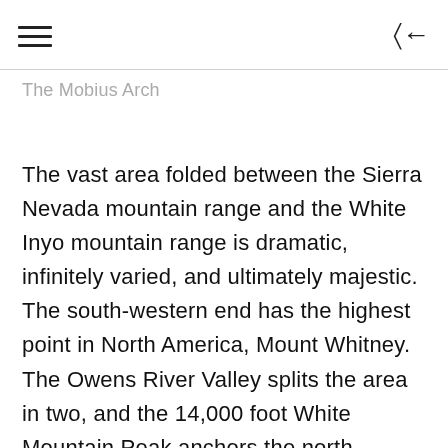≡  ←
The Mobius Arch
The vast area folded between the Sierra Nevada mountain range and the White Inyo mountain range is dramatic, infinitely varied, and ultimately majestic.  The south-western end has the highest point in North America, Mount Whitney.  The Owens River Valley splits the area in two, and the 14,000 foot White Mountain Peak anchors the north-eastern end.  In contains the volcanic peak, Mammoth Mountain ski resort, as well as, Mono Lake, one of the oldest bodies of